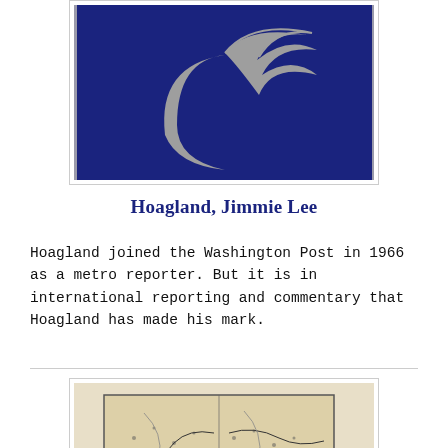[Figure (logo): Washington Post logo: dark navy blue square with gray stylized swirl/eagle design, framed with gray border]
Hoagland, Jimmie Lee
Hoagland joined the Washington Post in 1966 as a metro reporter. But it is in international reporting and commentary that Hoagland has made his mark.
[Figure (map): Antique or historical map showing geographic features, coastlines and terrain in sepia/parchment tones]